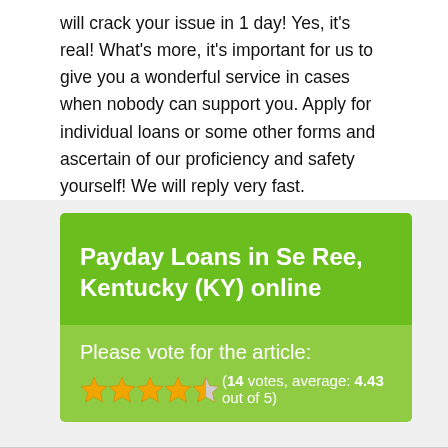will crack your issue in 1 day! Yes, it's real! What's more, it's important for us to give you a wonderful service in cases when nobody can support you. Apply for individual loans or some other forms and ascertain of our proficiency and safety yourself! We will reply very fast.
Payday Loans in Se Ree, Kentucky (KY) online
Please vote for the article: (14 votes, average: 4.43 out of 5)